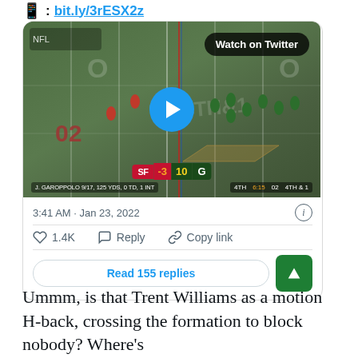📱 : bit.ly/3rESX2z
[Figure (screenshot): Twitter/X embedded video tweet showing an NFL football game (San Francisco 49ers vs Green Bay Packers), with scorebug showing SF -3, GB 10, 4th quarter 6:15, 4th & 1, with a 'Watch on Twitter' overlay badge and blue play button. Timestamp: 3:41 AM · Jan 23, 2022. Engagement: 1.4K likes. Actions: Reply, Copy link. Read 155 replies button shown.]
Ummm, is that Trent Williams as a motion H-back, crossing the formation to block nobody? Where's